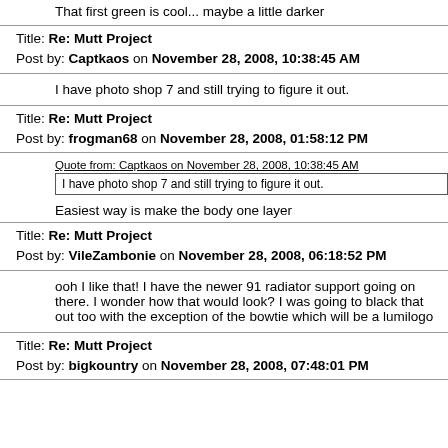That first green is cool... maybe a little darker
Title: Re: Mutt Project
Post by: Captkaos on November 28, 2008, 10:38:45 AM
I have photo shop 7 and still trying to figure it out.
Title: Re: Mutt Project
Post by: frogman68 on November 28, 2008, 01:58:12 PM
Quote from: Captkaos on November 28, 2008, 10:38:45 AM
I have photo shop 7 and still trying to figure it out.
Easiest way is make the body one layer
Title: Re: Mutt Project
Post by: VileZambonie on November 28, 2008, 06:18:52 PM
ooh I like that! I have the newer 91 radiator support going on there. I wonder how that would look? I was going to black that out too with the exception of the bowtie which will be a lumilogo
Title: Re: Mutt Project
Post by: bigkountry on November 28, 2008, 07:48:01 PM